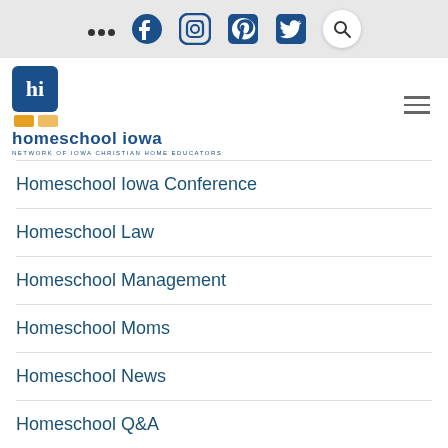... Facebook Instagram Pinterest Twitter [Search]
[Figure (logo): Homeschool Iowa logo - 'hi' in blue square with orange rectangles, text 'homeschool iowa, NETWORK OF IOWA CHRISTIAN HOME EDUCATORS']
Homeschool Iowa Conference
Homeschool Law
Homeschool Management
Homeschool Moms
Homeschool News
Homeschool Q&A
Homeschool Resources